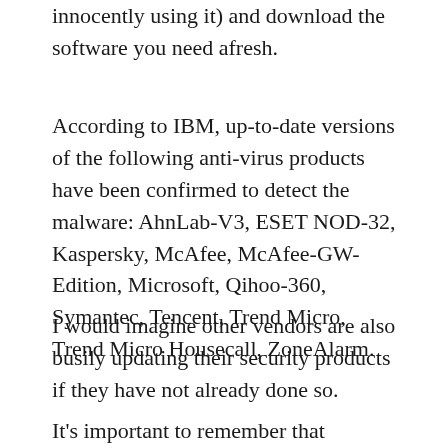innocently using it) and download the software you need afresh.
According to IBM, up-to-date versions of the following anti-virus products have been confirmed to detect the malware: AhnLab-V3, ESET NOD-32, Kaspersky, McAfee, McAfee-GW-Edition, Microsoft, Qihoo-360, Symantec, Tencent, Trend Micro, Trend Micro Housecall, ZoneAlarm.
I would imagine other vendors are also busily updating their security products if they have not already done so.
It's important to remember that malware doesn't just come right to your door.